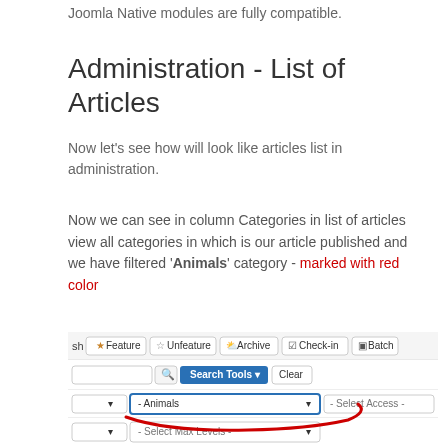Joomla Native modules are fully compatible.
Administration - List of Articles
Now let's see how will look like articles list in administration.
Now we can see in column Categories in list of articles view all categories in which is our article published and we have filtered 'Animals' category - marked with red color
[Figure (screenshot): Joomla administration articles list view showing toolbar with Feature, Unfeature, Archive, Check-in, Batch buttons; a search bar with Search Tools and Clear buttons; a filter row with Animals category dropdown selected (highlighted with red circle annotation) and Select Access dropdown; and a Select Max Levels dropdown row.]